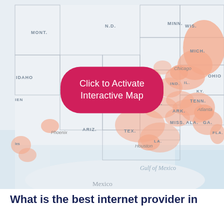[Figure (map): Interactive map of the United States showing internet coverage areas in salmon/orange pink shading, with state labels (MONT., N.D., MINN., IDAHO, WYO., S.D., WIS., MICH., UTAH, OKLA., ARK., TENN., MISS., ALA., GA., FLA., TEX., N.M., ARIZ., OHIO, IND., IL., KY., LA.) and city labels (Chicago, Atlanta, Phoenix, Houston). Also shows Mexico and Gulf of Mexico. A pink button overlay reads 'Click to Activate Interactive Map'.]
What is the best internet provider in